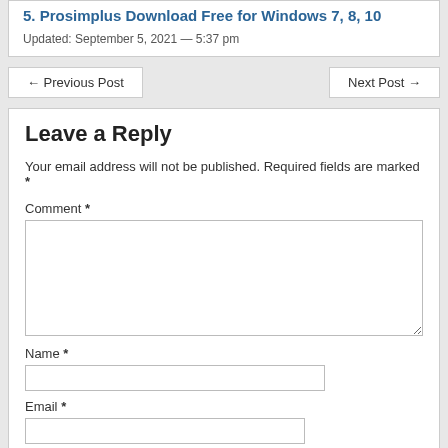5. Prosimplus Download Free for Windows 7, 8, 10
Updated: September 5, 2021 — 5:37 pm
← Previous Post
Next Post →
Leave a Reply
Your email address will not be published. Required fields are marked *
Comment *
Name *
Email *
Website